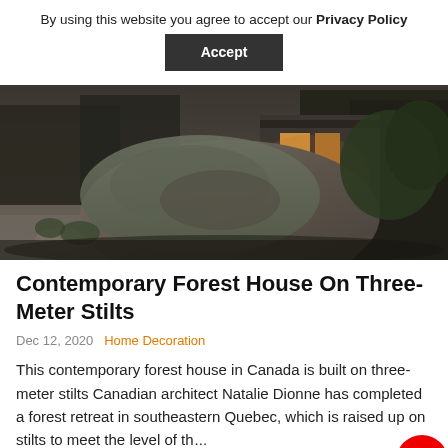By using this website you agree to accept our Privacy Policy
Accept
[Figure (photo): Exterior view of a forest house at dusk, with a large mossy boulder in the foreground and warm lights visible through windows in the background.]
Contemporary Forest House On Three-Meter Stilts
Dec 12, 2020   Home Decoration
This contemporary forest house in Canada is built on three-meter stilts Canadian architect Natalie Dionne has completed a forest retreat in southeastern Quebec, which is raised up on stilts to meet the level of t...
Read More